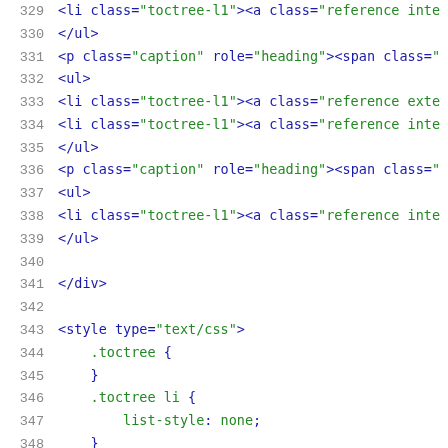329  <li class="toctree-l1"><a class="reference inte
330  </ul>
331  <p class="caption" role="heading"><span class="
332  <ul>
333  <li class="toctree-l1"><a class="reference exte
334  <li class="toctree-l1"><a class="reference inte
335  </ul>
336  <p class="caption" role="heading"><span class="
337  <ul>
338  <li class="toctree-l1"><a class="reference inte
339  </ul>
340
341  </div>
342
343  <style type="text/css">
344      .toctree {
345      }
346      .toctree li {
347          list-style: none;
348      }
349      .toctree .caption {
350          font-family: Roboto;